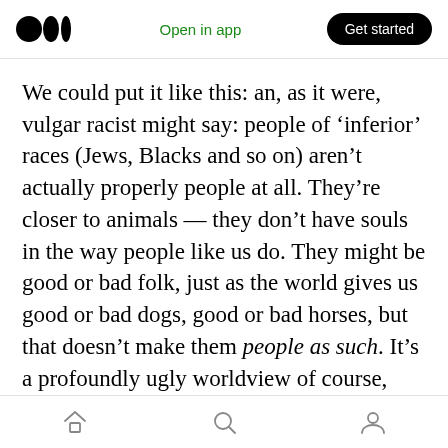Medium logo | Open in app | Get started
We could put it like this: an, as it were, vulgar racist might say: people of ‘inferior’ races (Jews, Blacks and so on) aren’t actually properly people at all. They’re closer to animals — they don’t have souls in the way people like us do. They might be good or bad folk, just as the world gives us good or bad dogs, good or bad horses, but that doesn’t make them people as such. It’s a profoundly ugly worldview of course, and of course wrong; but my point is that it is possible to repudiate this view without repudiating one’s
Home | Search | Profile